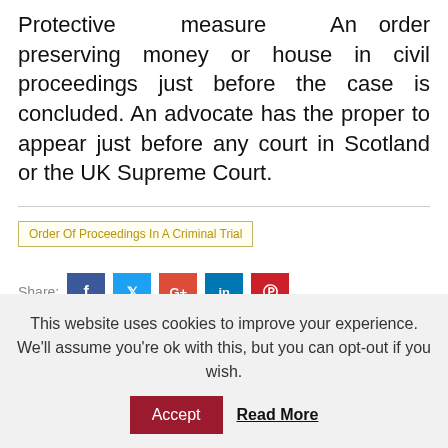Protective measure An order preserving money or house in civil proceedings just before the case is concluded. An advocate has the proper to appear just before any court in Scotland or the UK Supreme Court.
Order Of Proceedings In A Criminal Trial
Share:
This website uses cookies to improve your experience. We'll assume you're ok with this, but you can opt-out if you wish.
Accept
Read More